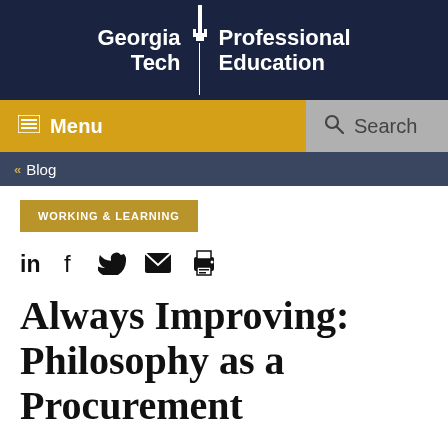[Figure (logo): Georgia Tech Professional Education logo with white text on dark navy background]
Menu | Search
« Blog
WORKING & LEARNING
[Figure (infographic): Social sharing icons: LinkedIn, Facebook, Twitter, Email, Print]
Always Improving: Philosophy as a Procurement